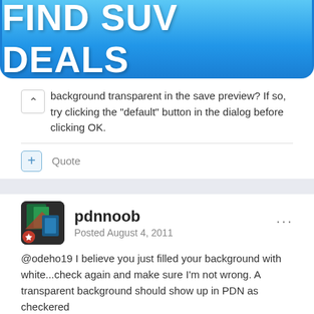[Figure (illustration): Blue gradient banner button with white bold text reading FIND SUV DEALS]
background transparent in the save preview? If so, try clicking the "default" button in the dialog before clicking OK.
+ Quote
pdnnoob
Posted August 4, 2011
@odeho19 I believe you just filled your background with white...check again and make sure I'm not wrong. A transparent background should show up in PDN as checkered
+ Quote